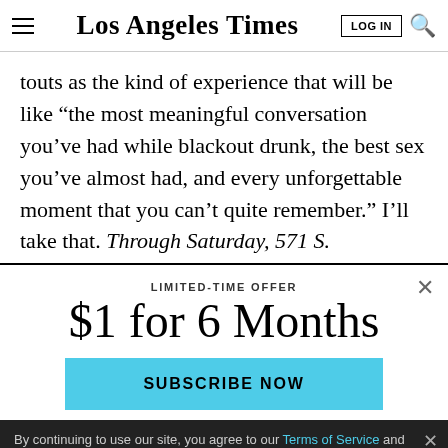Los Angeles Times
touts as the kind of experience that will be like “the most meaningful conversation you’ve had while blackout drunk, the best sex you’ve almost had, and every unforgettable moment that you can’t quite remember.” I’ll take that. Through Saturday, 571 S.
LIMITED-TIME OFFER
$1 for 6 Months
SUBSCRIBE NOW
By continuing to use our site, you agree to our Terms of Service and Privacy Policy. You can learn more about how we use cookies by reviewing our Privacy Policy. Close